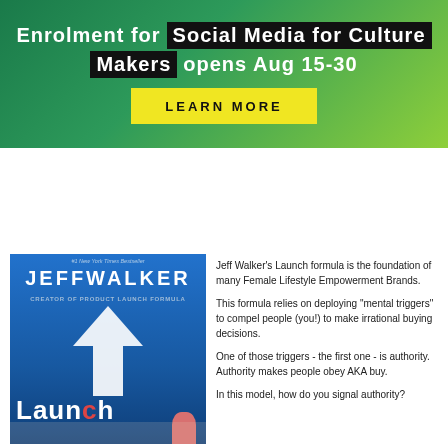Enrolment for Social Media for Culture Makers opens Aug 15-30
LEARN MORE
[Figure (logo): Kelly Diels logo with KD monogram and site navigation bar with MENU button]
[Figure (photo): Hand holding Jeff Walker's Launch book with blue cover]
Jeff Walker's Launch formula is the foundation of many Female Lifestyle Empowerment Brands.
This formula relies on deploying "mental triggers" to compel people (you!) to make irrational buying decisions.
One of those triggers - the first one - is authority. Authority makes people obey AKA buy.
In this model, how do you signal authority?